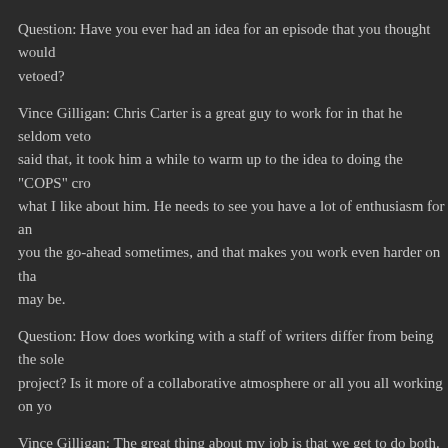Question: Have you ever had an idea for an episode that you thought would be vetoed?
Vince Gilligan: Chris Carter is a great guy to work for in that he seldom veto said that, it took him a while to warm up to the idea to doing the "COPS" cro what I like about him. He needs to see you have a lot of enthusiasm for an you the go-ahead sometimes, and that makes you work even harder on tha may be.
Question: How does working with a staff of writers differ from being the sole project? Is it more of a collaborative atmosphere or all you all working on yo
Vince Gilligan: The great thing about my job is that we get to do both. We o all by ourselves, and often we team up and write them together. It pretty mu much time we have to get the episode written. Both ways are fun. It's great by yourself and write one alone, and yet it can also be a real kick to get tog Frank Spotnitz and John Shiban and bang out a story together.
Question: On average, how long does it take you to write an episode?
Vince Gilligan: The short answer is "As long as we have." In a perfect world least three weeks. More often than not, once the plot is fleshed out and the